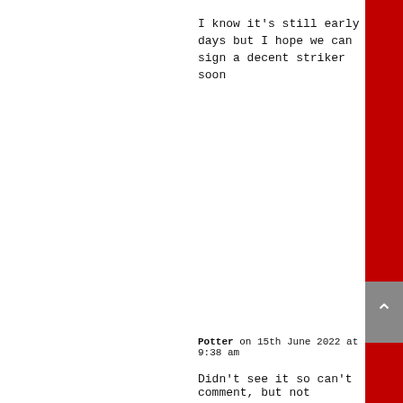I know it's still early days but I hope we can sign a decent striker soon
Potter on 15th June 2022 at 9:38 am
Didn't see it so can't comment, but not